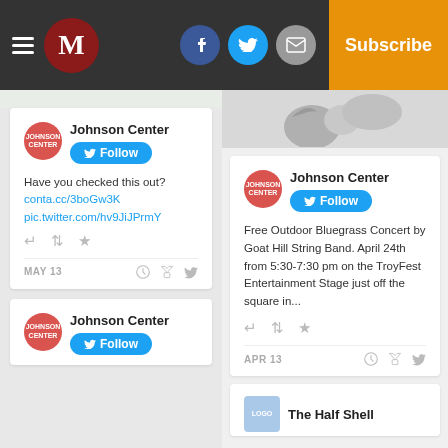[Figure (screenshot): Navigation bar with hamburger menu, M logo, Facebook/Twitter/Email icons, Log In text, and orange Subscribe button]
[Figure (screenshot): Tweet card from Johnson Center with Follow button, text 'Have you checked this out? conta.cc/3boGw3K pic.twitter.com/hv9JiJPrmY', action icons, MAY 13 date]
[Figure (screenshot): Partial tweet card from Johnson Center with Follow button (bottom of left column)]
[Figure (screenshot): Partial image at top right column]
[Figure (screenshot): Tweet card from Johnson Center with Follow button, text 'Free Outdoor Bluegrass Concert by Goat Hill String Band. April 24th from 5:30-7:30 pm on the TroyFest Entertainment Stage just off the square in...', APR 13 date]
[Figure (screenshot): Partial card at bottom right with 'The Half Shell' text]